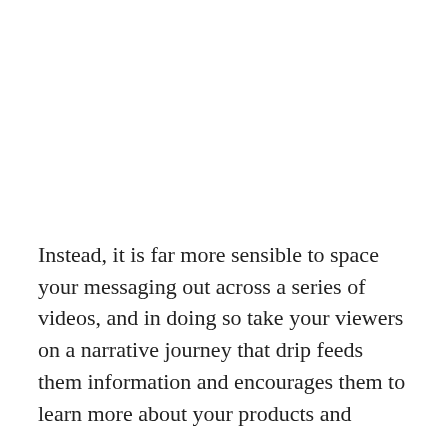Instead, it is far more sensible to space your messaging out across a series of videos, and in doing so take your viewers on a narrative journey that drip feeds them information and encourages them to learn more about your products and